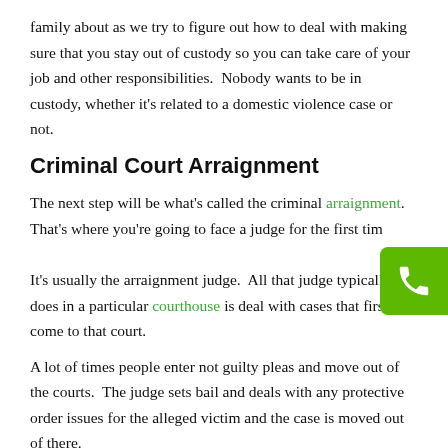family about as we try to figure out how to deal with making sure that you stay out of custody so you can take care of your job and other responsibilities.  Nobody wants to be in custody, whether it's related to a domestic violence case or not.
Criminal Court Arraignment
The next step will be what's called the criminal arraignment. That's where you're going to face a judge for the first time. It's usually the arraignment judge.  All that judge typically does in a particular courthouse is deal with cases that first come to that court.
A lot of times people enter not guilty pleas and move out of the courts.  The judge sets bail and deals with any protective order issues for the alleged victim and the case is moved out of there.